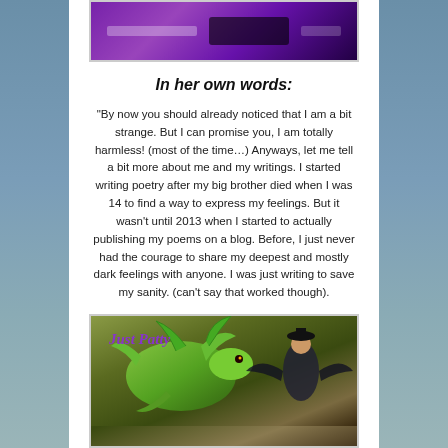[Figure (photo): Purple tablecloth with dark decorative items on a table, top portion of image cropped]
In her own words:
"By now you should already noticed that I am a bit strange. But I can promise you, I am totally harmless! (most of the time…) Anyways, let me tell a bit more about me and my writings. I started writing poetry after my big brother died when I was 14 to find a way to express my feelings. But it wasn't until 2013 when I started to actually publishing my poems on a blog. Before, I just never had the courage to share my deepest and mostly dark feelings with anyone. I was just writing to save my sanity. (can't say that worked though).
[Figure (photo): Fantasy illustration with a green dragon and a woman with dark wings, text 'Just Patty' in purple italic overlay]